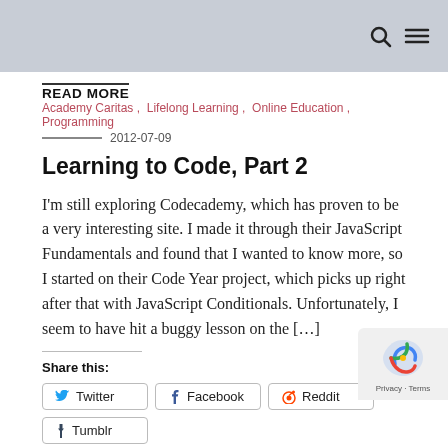READ MORE
Academy Caritas , Lifelong Learning , Online Education , Programming
2012-07-09
Learning to Code, Part 2
I'm still exploring Codecademy, which has proven to be a very interesting site. I made it through their JavaScript Fundamentals and found that I wanted to know more, so I started on their Code Year project, which picks up right after that with JavaScript Conditionals. Unfortunately, I seem to have hit a buggy lesson on the […]
Share this:
Twitter
Facebook
Reddit
Tumblr
Pinterest
Pocket
Email
LinkedIn